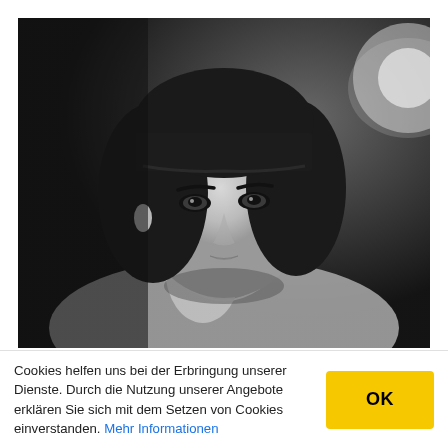[Figure (photo): Black and white portrait photograph of a young woman with a dark bob haircut with bangs, resting her chin on her hand, wearing a polo shirt, looking off to the side.]
Cookies helfen uns bei der Erbringung unserer Dienste. Durch die Nutzung unserer Angebote erklären Sie sich mit dem Setzen von Cookies einverstanden. Mehr Informationen